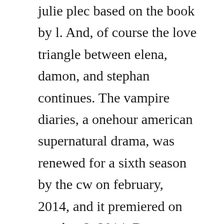julie plec based on the book by l. And, of course the love triangle between elena, damon, and stephan continues. The vampire diaries, a onehour american supernatural drama, was renewed for a sixth season by the cw on february, 2014, and it premiered on october 2, 2014. Darren yanks the wheel, sending the jeep into a tailspin. Elena gilbert the vampire diaries novels wiki fandom. Kevin williamson discusses the huge twist in the vampire diaries season finale.
The end result she becomes an even worse